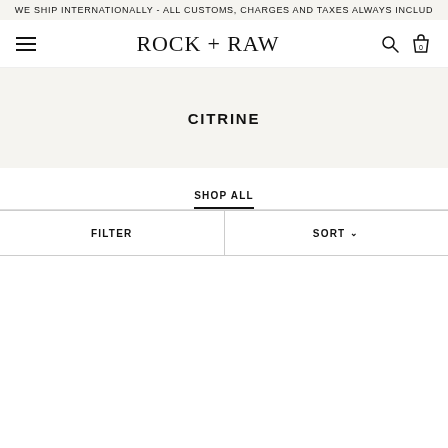WE SHIP INTERNATIONALLY - ALL CUSTOMS, CHARGES AND TAXES ALWAYS INCLUD
ROCK + RAW
CITRINE
SHOP ALL
FILTER
SORT